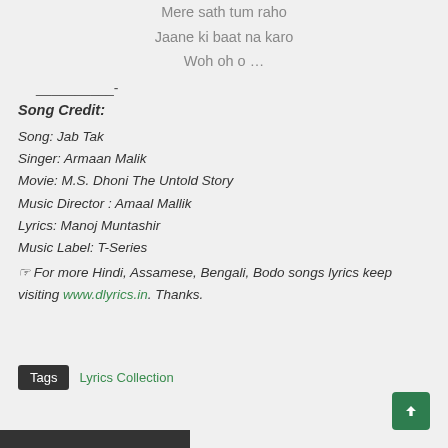Mere sath tum raho
Jaane ki baat na karo
Woh oh o …
——————-
Song Credit:
Song: Jab Tak
Singer: Armaan Malik
Movie: M.S. Dhoni The Untold Story
Music Director : Amaal Mallik
Lyrics: Manoj Muntashir
Music Label: T-Series
☞ For more Hindi, Assamese, Bengali, Bodo songs lyrics keep visiting www.dlyrics.in. Thanks.
Tags  Lyrics Collection